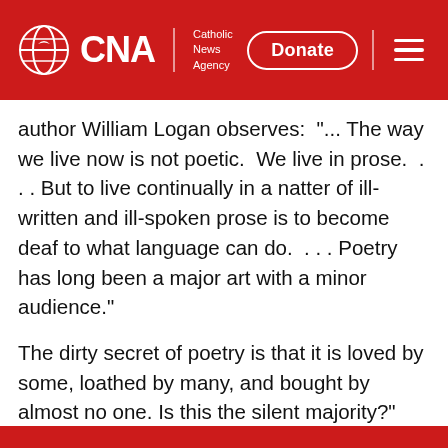CNA | Catholic News Agency — Donate
author William Logan observes:  "... The way we live now is not poetic.  We live in prose.  . . . But to live continually in a natter of ill-written and ill-spoken prose is to become deaf to what language can do.  . . . Poetry has long been a major art with a minor audience."
The dirty secret of poetry is that it is loved by some, loathed by many, and bought by almost no one. Is this the silent majority?" (New York Times Sunday Review, June 14, 2014).
Catholic Poetry